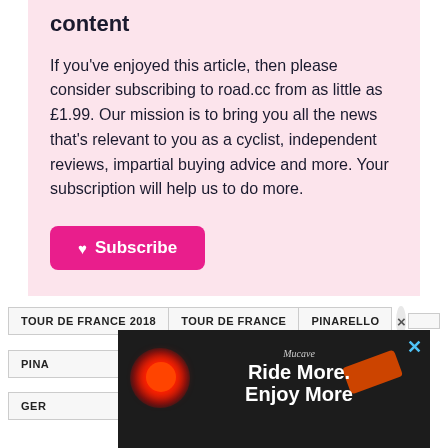content
If you've enjoyed this article, then please consider subscribing to road.cc from as little as £1.99. Our mission is to bring you all the news that's relevant to you as a cyclist, independent reviews, impartial buying advice and more. Your subscription will help us to do more.
♥ Subscribe
TOUR DE FRANCE 2018 | TOUR DE FRANCE | PINARELLO ×
PINA
GER
[Figure (photo): Advertisement banner showing a red bicycle light with text 'Ride More. Enjoy More' on dark background with brand name 'Mucave']